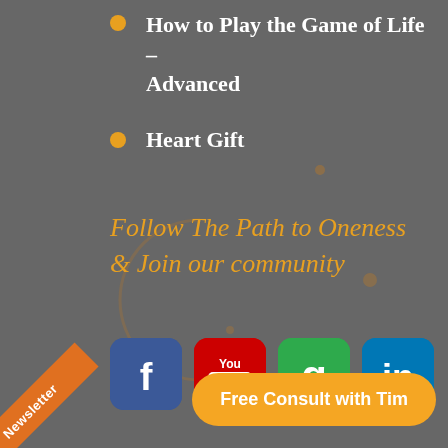How to Play the Game of Life – Advanced
Heart Gift
Follow The Path to Oneness & Join our community
[Figure (illustration): Four social media icons in a row: Facebook (blue), YouTube (red), Goodreads/green G (green), LinkedIn (blue)]
Newsletter
Free Consult with Tim